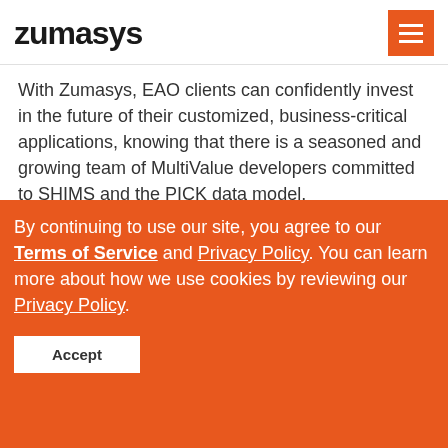zumasys
With Zumasys, EAO clients can confidently invest in the future of their customized, business-critical applications, knowing that there is a seasoned and growing team of MultiValue developers committed to SHIMS and the PICK data model.
About Zumasys
Founded in 2000, Zumasys provides a suite of...
By continuing to use our site, you agree to our Terms of Service and Privacy Policy. You can learn more about how we use cookies by reviewing our Privacy Policy.
Accept